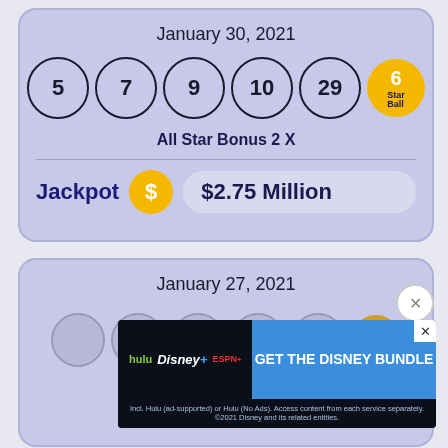January 30, 2021
[Figure (infographic): Lottery draw results for January 30, 2021: balls showing 5, 7, 9, 10, 29, and Star Ball 6 (golden). All Star Bonus 2X. Jackpot $2.75 Million.]
All Star Bonus 2 X
Jackpot  $2.75 Million
January 27, 2021
[Figure (infographic): Lottery draw results for January 27, 2021 (partially visible, obscured by ad). All Star Bonus 2 X visible at bottom.]
[Figure (infographic): Advertisement: GET THE DISNEY BUNDLE - hulu, Disney+, ESPN+. Incl. Hulu (ad-supported) or Hulu (No Ads). Access content from each service separately. ©2021 Disney and its related entities.]